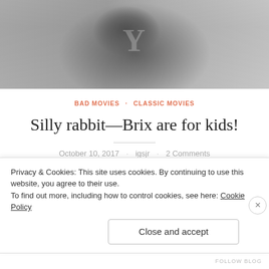[Figure (photo): Grayscale historical photo of a person wearing a Yale athletic jersey with a Y letter, cropped to show torso and partial background crowd]
BAD MOVIES · CLASSIC MOVIES
Silly rabbit—Brix are for kids!
October 10, 2017 · igsjr · 2 Comments
It's a tale right out of The Beverly Hillbillies—wildcatter Tim Henessey (Samuel Adams—not the beer guy, by the way) has had a gusher come in, and now the entire
Privacy & Cookies: This site uses cookies. By continuing to use this website, you agree to their use.
To find out more, including how to control cookies, see here: Cookie Policy
Close and accept